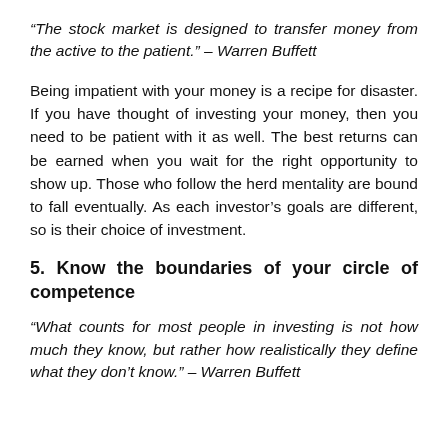“The stock market is designed to transfer money from the active to the patient.” – Warren Buffett
Being impatient with your money is a recipe for disaster. If you have thought of investing your money, then you need to be patient with it as well. The best returns can be earned when you wait for the right opportunity to show up. Those who follow the herd mentality are bound to fall eventually. As each investor’s goals are different, so is their choice of investment.
5. Know the boundaries of your circle of competence
“What counts for most people in investing is not how much they know, but rather how realistically they define what they don’t know.” – Warren Buffett